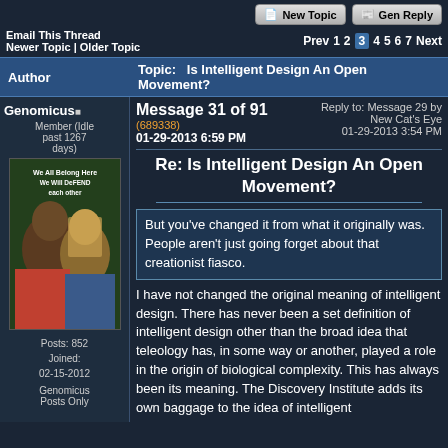New Topic | Gen Reply
Email This Thread
Newer Topic | Older Topic
Prev 1 2 3 4 5 6 7 Next
| Author | Topic: Is Intelligent Design An Open Movement? |
| --- | --- |
Genomicus
Member (Idle past 1267 days)
Message 31 of 91
(689338)
01-29-2013 6:59 PM
Reply to: Message 29 by New Cat's Eye
01-29-2013 3:54 PM
[Figure (illustration): Illustration of two young women with text 'We All Belong Here We Will Defend Each Other']
Re: Is Intelligent Design An Open Movement?
But you've changed it from what it originally was. People aren't just going forget about that creationist fiasco.
Posts: 852
Joined: 02-15-2012
Genomicus Posts Only
I have not changed the original meaning of intelligent design. There has never been a set definition of intelligent design other than the broad idea that teleology has, in some way or another, played a role in the origin of biological complexity. This has always been its meaning. The Discovery Institute adds its own baggage to the idea of intelligent